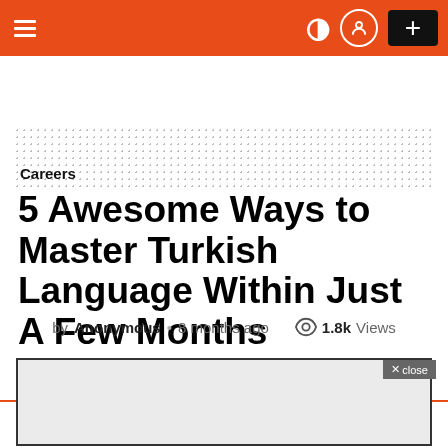Navigation bar with hamburger menu, moon icon, user icon, and plus button
[Figure (other): Dotted advertisement placeholder area]
Careers
5 Awesome Ways to Master Turkish Language Within Just A Few Months
by Anonymous · 8 months ago  1.8k Views
[Figure (other): Advertisement box with close button]
get YOUR ad HERE ADVERTISE with US